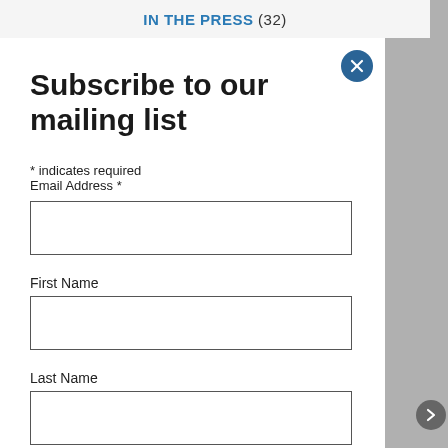IN THE PRESS (32)
Subscribe to our mailing list
* indicates required
Email Address *
[Figure (screenshot): Empty email address input text field]
First Name
[Figure (screenshot): Empty first name input text field]
Last Name
[Figure (screenshot): Empty last name input text field]